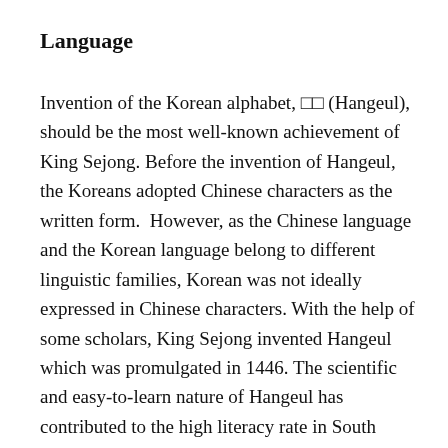Language
Invention of the Korean alphabet, □□ (Hangeul), should be the most well-known achievement of King Sejong.  Before the invention of Hangeul, the Koreans adopted Chinese characters as the written form.  However, as the Chinese language and the Korean language belong to different linguistic families,  Korean was not ideally expressed in Chinese characters.  With the help of some scholars, King Sejong invented Hangeul which was promulgated in 1446.  The scientific and easy-to-learn nature of Hangeul has contributed to the high literacy rate in South Korea.  Hangeul was included in the UNESCO